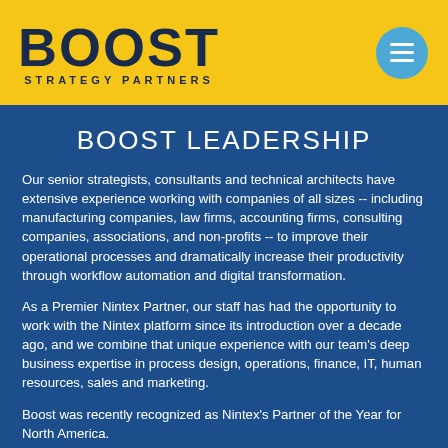[Figure (logo): BOOST STRATEGY PARTNERS logo in dark navy on yellow background, with a blue circle menu icon on the right]
BOOST LEADERSHIP
Our senior strategists, consultants and technical architects have extensive experience working with companies of all sizes -- including manufacturing companies, law firms, accounting firms, consulting companies, associations, and non-profits -- to improve their operational processes and dramatically increase their productivity through workflow automation and digital transformation.
As a Premier Nintex Partner, our staff has had the opportunity to work with the Nintex platform since its introduction over a decade ago, and we combine that unique experience with our team's deep business expertise in process design, operations, finance, IT, human resources, sales and marketing.
Boost was recently recognized as Nintex's Partner of the Year for North America.